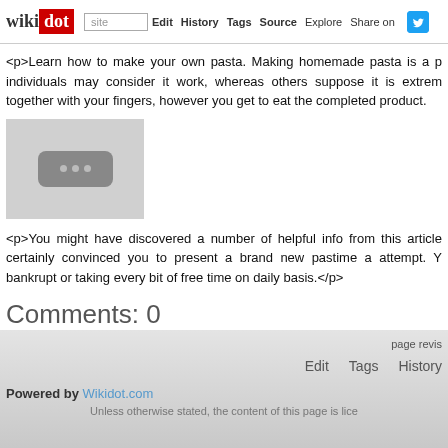wikidot | site | Edit | History | Tags | Source | Explore | Share on
<p>Learn how to make your own pasta. Making homemade pasta is a p individuals may consider it work, whereas others suppose it is extrem together with your fingers, however you get to eat the completed product.
[Figure (illustration): Placeholder image with three dots icon on grey background]
<p>You might have discovered a number of helpful info from this article certainly convinced you to present a brand new pastime a attempt. Y bankrupt or taking every bit of free time on daily basis.</p>
Comments: 0
Add a New Comment
page revis Edit Tags History Powered by Wikidot.com Unless otherwise stated, the content of this page is lice